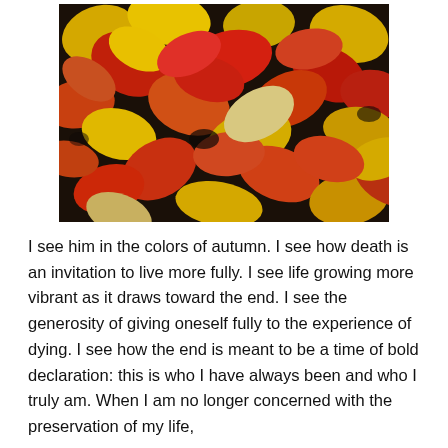[Figure (photo): Overhead view of autumn leaves scattered on the ground, showing red, yellow, orange, and dark colors in a dense colorful pile.]
I see him in the colors of autumn. I see how death is an invitation to live more fully. I see life growing more vibrant as it draws toward the end. I see the generosity of giving oneself fully to the experience of dying. I see how the end is meant to be a time of bold declaration: this is who I have always been and who I truly am. When I am no longer concerned with the preservation of my life,